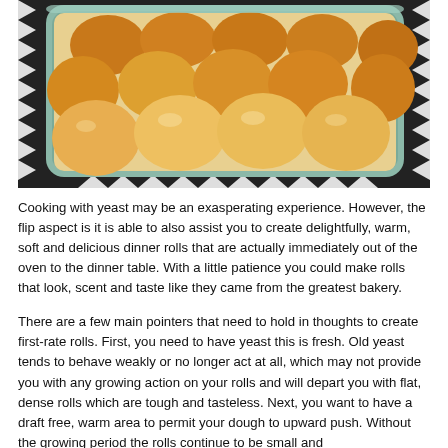[Figure (photo): A baking pan filled with golden-brown dinner rolls, arranged in rows, sitting on a black and white patterned surface]
Cooking with yeast may be an exasperating experience. However, the flip aspect is it is able to also assist you to create delightfully, warm, soft and delicious dinner rolls that are actually immediately out of the oven to the dinner table. With a little patience you could make rolls that look, scent and taste like they came from the greatest bakery.
There are a few main pointers that need to hold in thoughts to create first-rate rolls. First, you need to have yeast this is fresh. Old yeast tends to behave weakly or no longer act at all, which may not provide you with any growing action on your rolls and will depart you with flat, dense rolls which are tough and tasteless. Next, you want to have a draft free, warm area to permit your dough to upward push. Without the growing period the rolls continue to be small and